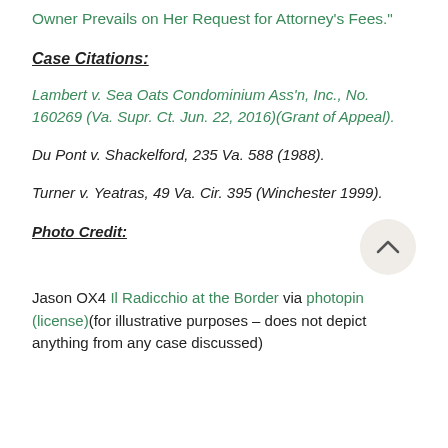Owner Prevails on Her Request for Attorney's Fees."
Case Citations:
Lambert v. Sea Oats Condominium Ass'n, Inc., No. 160269 (Va. Supr. Ct. Jun. 22, 2016)(Grant of Appeal).
Du Pont v. Shackelford, 235 Va. 588 (1988).
Turner v. Yeatras, 49 Va. Cir. 395 (Winchester 1999).
Photo Credit:
Jason OX4 Il Radicchio at the Border via photopin (license)(for illustrative purposes – does not depict anything from any case discussed)